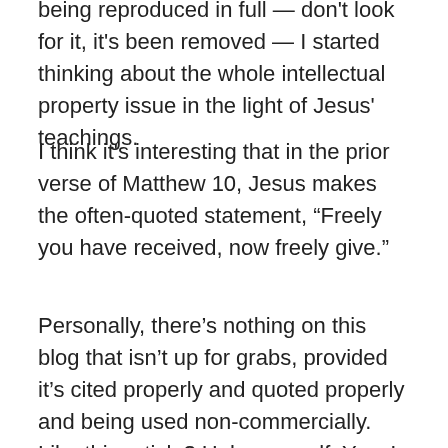being reproduced in full — don't look for it, it's been removed — I started thinking about the whole intellectual property issue in the light of Jesus' teachings.
I think it's interesting that in the prior verse of Matthew 10, Jesus makes the often-quoted statement, “Freely you have received, now freely give.”
Personally, there’s nothing on this blog that isn’t up for grabs, provided it’s cited properly and quoted properly and being used non-commercially. Like this article? Help yourself. Yes, I have been paid to write and could thereby consider myself a professional writer; but this is only a blog and it's vital not to get too caught up in your own sense of self-importance; and I say that in the fragile financial state of someone who currently has no other sources of income, as our business does not pay us a regular salary.